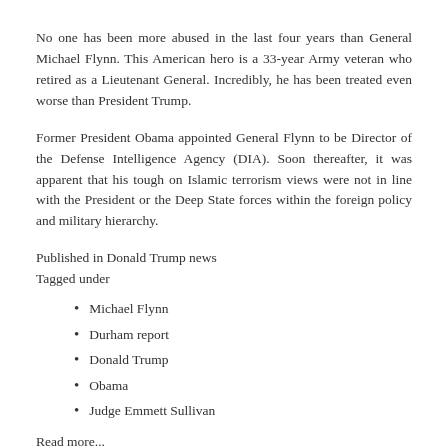No one has been more abused in the last four years than General Michael Flynn. This American hero is a 33-year Army veteran who retired as a Lieutenant General. Incredibly, he has been treated even worse than President Trump.
Former President Obama appointed General Flynn to be Director of the Defense Intelligence Agency (DIA). Soon thereafter, it was apparent that his tough on Islamic terrorism views were not in line with the President or the Deep State forces within the foreign policy and military hierarchy.
Published in Donald Trump news
Tagged under
Michael Flynn
Durham report
Donald Trump
Obama
Judge Emmett Sullivan
Read more...